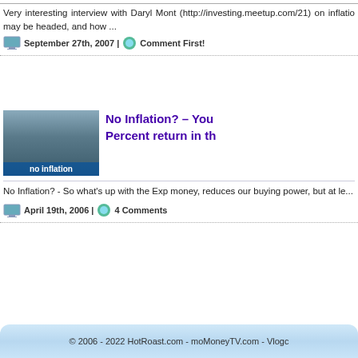Very interesting interview with Daryl Mont (http://investing.meetup.com/21) on inflatio may be headed, and how ...
September 27th, 2007 | Comment First!
[Figure (photo): Thumbnail of a person with 'no inflation' overlay text]
No Inflation? – You Percent return in th
No Inflation? - So what's up with the Exp money, reduces our buying power, but at le...
April 19th, 2006 | 4 Comments
© 2006 - 2022 HotRoast.com - moMoneyTV.com - Vlogc